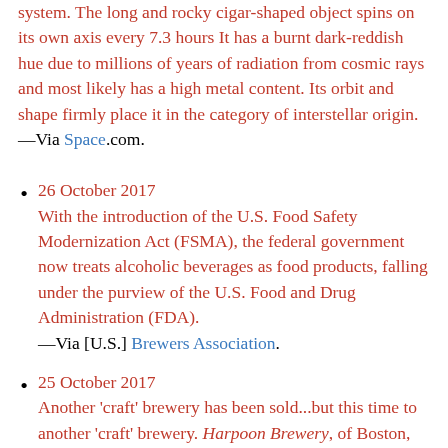system. The long and rocky cigar-shaped object spins on its own axis every 7.3 hours It has a burnt dark-reddish hue due to millions of years of radiation from cosmic rays and most likely has a high metal content. Its orbit and shape firmly place it in the category of interstellar origin. —Via Space.com.
26 October 2017
With the introduction of the U.S. Food Safety Modernization Act (FSMA), the federal government now treats alcoholic beverages as food products, falling under the purview of the U.S. Food and Drug Administration (FDA).
—Via [U.S.] Brewers Association.
25 October 2017
Another 'craft' brewery has been sold...but this time to another 'craft' brewery. Harpoon Brewery, of Boston, Massachusetts, has acquired Clown Shoes Brewing. To be precise, it was Mass Bay Brewing Company which did